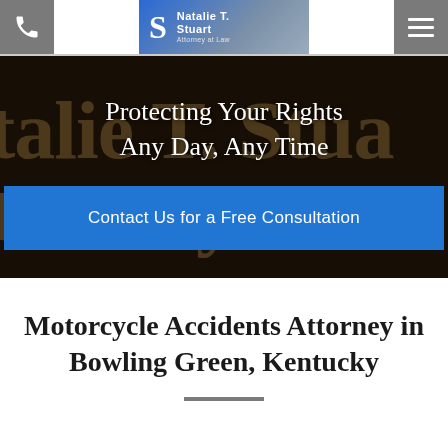Natalie T. Stuart - Attorney at Law - navigation header with phone and menu icons
[Figure (screenshot): Law firm hero banner showing a dark gold-toned sign with text 'Protecting Your Rights Any Day, Any Time' and a blue 'Contact Us for a Free Consultation' button overlay]
Motorcycle Accidents Attorney in Bowling Green, Kentucky